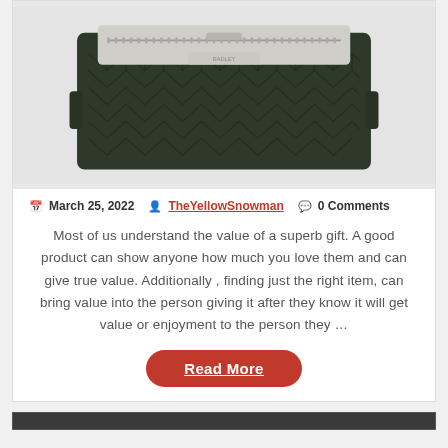[Figure (photo): Dark olive green quilted handbag with geometric chevron pattern and light grey/cream zipper top panel, shown against a light grey background]
March 25, 2022  TheYellowSnowman  0 Comments
Most of us understand the value of a superb gift. A good product can show anyone how much you love them and can give true value. Additionally, finding just the right item, can bring value into the person giving it after they know it will get value or enjoyment to the person they …
Read More